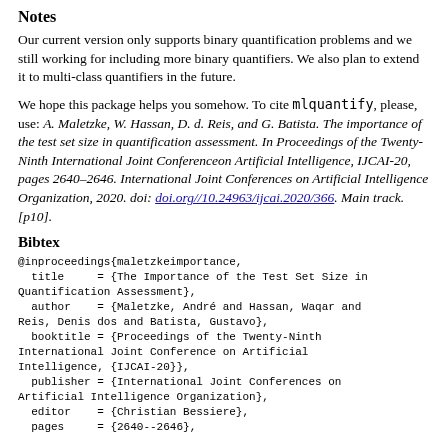Notes
Our current version only supports binary quantification problems and we still working for including more binary quantifiers. We also plan to extend it to multi-class quantifiers in the future.
We hope this package helps you somehow. To cite mlquantify, please, use: A. Maletzke, W. Hassan, D. d. Reis, and G. Batista. The importance of the test set size in quantification assessment. In Proceedings of the Twenty-Ninth International Joint Conferenceon Artificial Intelligence, IJCAI-20, pages 2640–2646. International Joint Conferences on Artificial Intelligence Organization, 2020. doi: doi.org//10.24963/ijcai.2020/366. Main track. [p10].
Bibtex
@inproceedings{maletzkeimportance,
  title     = {The Importance of the Test Set Size in Quantification Assessment},
  author    = {Maletzke, André and Hassan, Waqar and Reis, Denis dos and Batista, Gustavo},
  booktitle = {Proceedings of the Twenty-Ninth International Joint Conference on Artificial Intelligence, {IJCAI-20}},
  publisher = {International Joint Conferences on Artificial Intelligence Organization},
  editor    = {Christian Bessiere},
  pages     = {2640--2646},